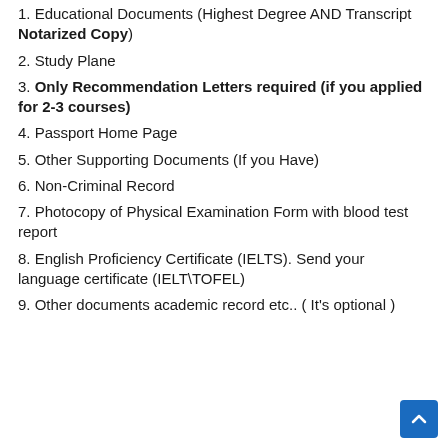1. Educational Documents (Highest Degree AND Transcript Notarized Copy)
2. Study Plane
3. Only Recommendation Letters required (if you applied for 2-3 courses)
4. Passport Home Page
5. Other Supporting Documents (If you Have)
6. Non-Criminal Record
7. Photocopy of Physical Examination Form with blood test report
8. English Proficiency Certificate (IELTS). Send your language certificate (IELT\TOFEL)
9. Other documents academic record etc.. ( It's optional )